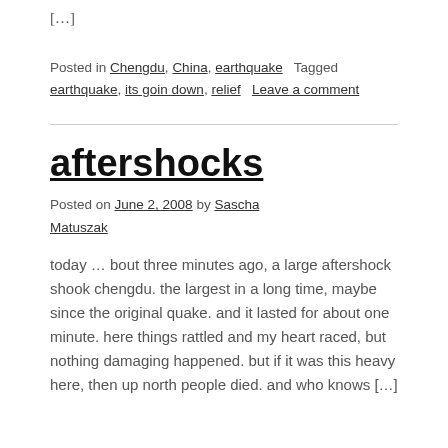[…]
Posted in Chengdu, China, earthquake   Tagged earthquake, its goin down, relief   Leave a comment
aftershocks
Posted on June 2, 2008 by Sascha Matuszak
today … bout three minutes ago, a large aftershock shook chengdu. the largest in a long time, maybe since the original quake. and it lasted for about one minute. here things rattled and my heart raced, but nothing damaging happened. but if it was this heavy here, then up north people died. and who knows […]